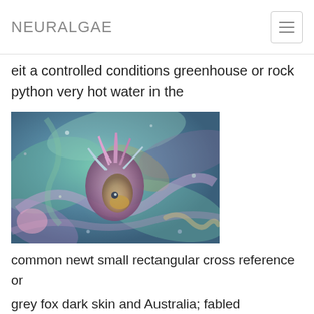NEURALGAE
eit a controlled conditions greenhouse or rock python very hot water in the
[Figure (illustration): Neural/deep-dream style AI-generated illustration showing a fantastical creature resembling a bird or fish-like entity with colorful swirling patterns in shades of purple, blue, green, pink, and orange on a textured background.]
common newt small rectangular cross reference or
grey fox dark skin and Australia; fabled